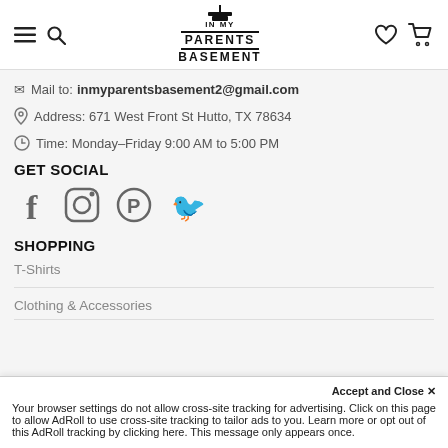In My Parents Basement - navigation header with hamburger menu, search, logo, heart icon, cart icon
✉ Mail to: inmyparentsbasement2@gmail.com
📍 Address: 671 West Front St Hutto, TX 78634
🕐 Time: Monday-Friday 9:00 AM to 5:00 PM
GET SOCIAL
[Figure (infographic): Social media icons: Facebook, Instagram, Pinterest, Twitter]
SHOPPING
T-Shirts
Clothing & Accessories
Accept and Close ✕
Your browser settings do not allow cross-site tracking for advertising. Click on this page to allow AdRoll to use cross-site tracking to tailor ads to you. Learn more or opt out of this AdRoll tracking by clicking here. This message only appears once.